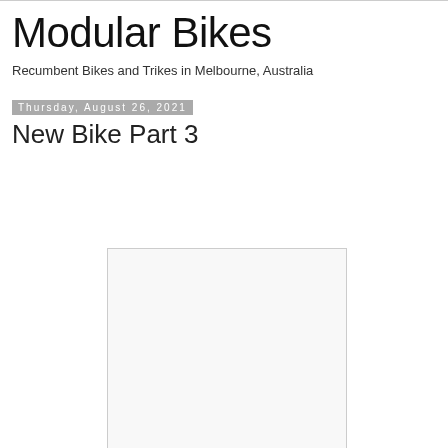Modular Bikes
Recumbent Bikes and Trikes in Melbourne, Australia
Thursday, August 26, 2021
New Bike Part 3
[Figure (photo): A white/light gray rectangular image placeholder area]